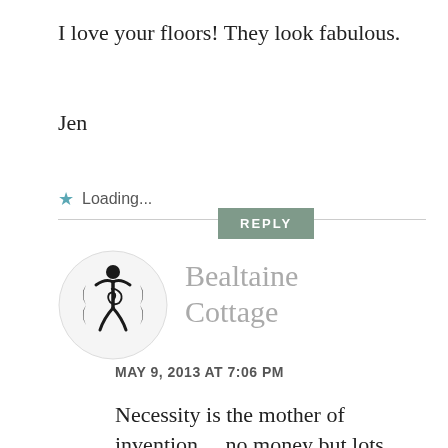I love your floors! They look fabulous.
Jen
Loading...
REPLY
[Figure (logo): Circular avatar with a triple moon goddess symbol in black on white background, representing Bealtaine Cottage]
Bealtaine Cottage
MAY 9, 2013 AT 7:06 PM
Necessity is the mother of invention… no money but lots